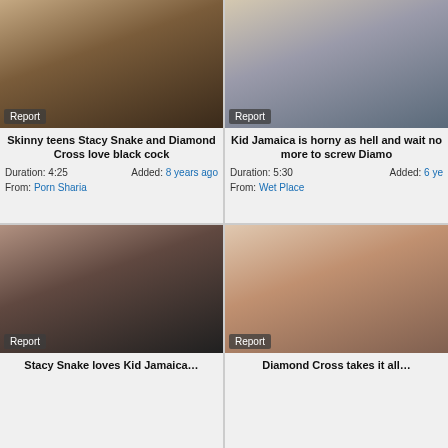[Figure (photo): Video thumbnail top left - adult content]
Skinny teens Stacy Snake and Diamond Cross love black cock
Duration: 4:25  Added: 8 years ago  From: Porn Sharia
[Figure (photo): Video thumbnail top right - adult content]
Kid Jamaica is horny as hell and wait no more to screw Diamond
Duration: 5:30  Added: 6 years ago  From: Wet Place
[Figure (photo): Video thumbnail bottom left - adult content]
[Figure (photo): Video thumbnail bottom right - adult content]